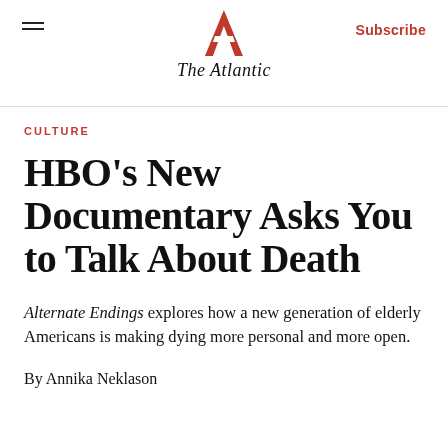The Atlantic — Subscribe
CULTURE
HBO's New Documentary Asks You to Talk About Death
Alternate Endings explores how a new generation of elderly Americans is making dying more personal and more open.
By Annika Neklason